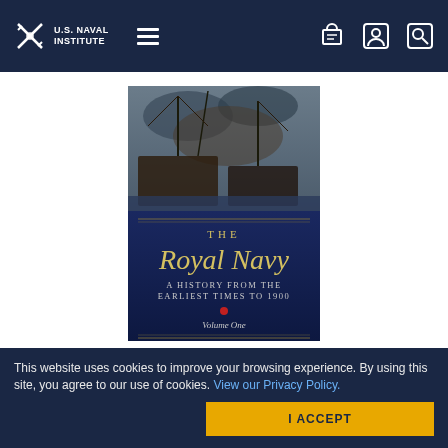U.S. Naval Institute
[Figure (photo): Book cover of 'The Royal Navy: A History From the Earliest Times to 1900, Volume One' by William Laird Clowes. Top half shows a painting of a naval battle scene; bottom half has a dark blue background with gold and white text showing the title.]
Royal Navy, Vol 1
A History From the Earliest Times to 1900
By William Laird Clowes
This website uses cookies to improve your browsing experience. By using this site, you agree to our use of cookies. View our Privacy Policy.